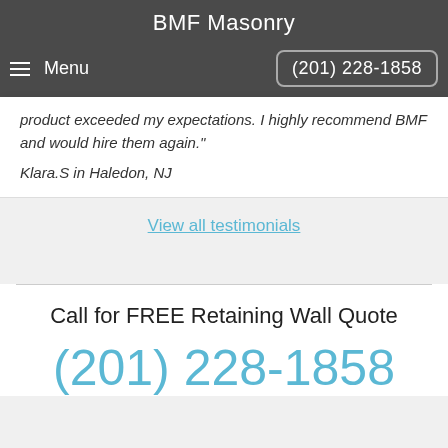BMF Masonry
Menu   (201) 228-1858
product exceeded my expectations. I highly recommend BMF and would hire them again."
Klara.S in Haledon, NJ
View all testimonials
Call for FREE Retaining Wall Quote
(201) 228-1858